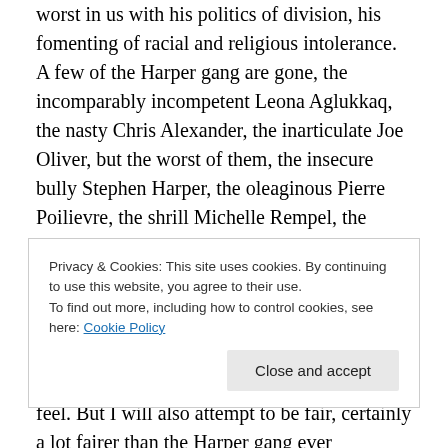worst in us with his politics of division, his fomenting of racial and religious intolerance. A few of the Harper gang are gone, the incomparably incompetent Leona Aglukkaq, the nasty Chris Alexander, the inarticulate Joe Oliver, but the worst of them, the insecure bully Stephen Harper, the oleaginous Pierre Poilievre, the shrill Michelle Rempel, the inveterate tweeter and conflater Jason Kenney continue to hold office, sewer rats still plaguing the House.
Now I will be accused of sour grapes. I will not deny there may be some of that in what I feel. But I will also attempt to be fair, certainly a lot fairer than the Harper gang ever
Privacy & Cookies: This site uses cookies. By continuing to use this website, you agree to their use.
To find out more, including how to control cookies, see here: Cookie Policy